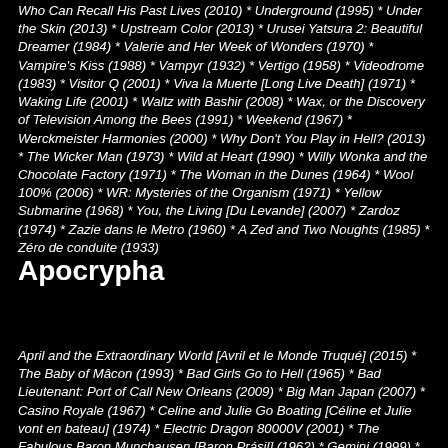Who Can Recall His Past Lives (2010) * Underground (1995) * Under the Skin (2013) * Upstream Color (2013) * Urusei Yatsura 2: Beautiful Dreamer (1984) * Valerie and Her Week of Wonders (1970) * Vampire's Kiss (1988) * Vampyr (1932) * Vertigo (1958) * Videodrome (1983) * Visitor Q (2001) * Viva la Muerte [Long Live Death] (1971) * Waking Life (2001) * Waltz with Bashir (2008) * Wax, or the Discovery of Television Among the Bees (1991) * Weekend (1967) * Werckmeister Harmonies (2000) * Why Don't You Play in Hell? (2013) * The Wicker Man (1973) * Wild at Heart (1990) * Willy Wonka and the Chocolate Factory (1971) * The Woman in the Dunes (1964) * Wool 100% (2006) * WR: Mysteries of the Organism (1971) * Yellow Submarine (1968) * You, the Living [Du Levande] (2007) * Zardoz (1974) * Zazie dans le Metro (1960) * A Zed and Two Noughts (1985) * Zéro de conduite (1933)
Apocrypha
April and the Extraordinary World [Avril et le Monde Truqué] (2015) * The Baby of Mâcon (1993) * Bad Girls Go to Hell (1965) * Bad Lieutenant: Port of Call New Orleans (2009) * Big Man Japan (2007) * Casino Royale (1967) * Celine and Julie Go Boating [Céline et Julie vont en bateau] (1974) * Electric Dragon 80000V (2001) * The Fabulous Baron Munchausen [Baron Prásil] (1962) * Gemini (1999) * Green Snake (1993) * The Happiness of the